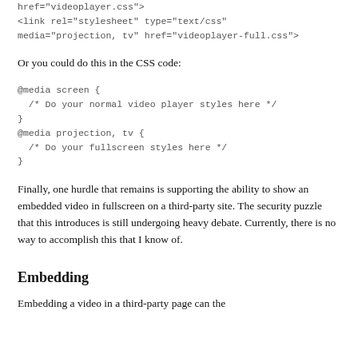href="videoplayer.css">
<link rel="stylesheet" type="text/css"
media="projection, tv" href="videoplayer-full.css">
Or you could do this in the CSS code:
@media screen {
  /* Do your normal video player styles here */
}
@media projection, tv {
  /* Do your fullscreen styles here */
}
Finally, one hurdle that remains is supporting the ability to show an embedded video in fullscreen on a third-party site. The security puzzle that this introduces is still undergoing heavy debate. Currently, there is no way to accomplish this that I know of.
Embedding
Embedding a video in a third-party page can the